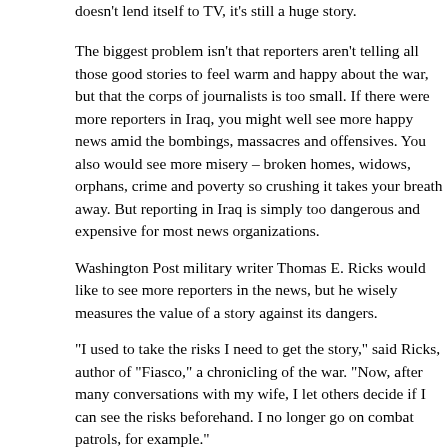doesn't lend itself to TV, it's still a huge story.
The biggest problem isn't that reporters aren't telling all those good stories to feel warm and happy about the war, but that the corps of journalists is too small. If there were more reporters in Iraq, you might well see more happy news amid the bombings, massacres and offensives. You also would see more misery – broken homes, widows, orphans, crime and poverty so crushing it takes your breath away. But reporting in Iraq is simply too dangerous and expensive for most news organizations.
Washington Post military writer Thomas E. Ricks would like to see more reporters in the news, but he wisely measures the value of a story against its dangers.
"I used to take the risks I need to get the story," said Ricks, author of "Fiasco," a chronicling of the war. "Now, after many conversations with my wife, I let others decide if I can see the risks beforehand. I no longer go on combat patrols, for example."
Starting at the tail end of the invasion, and continuing through today, I pick my own destinations and missions. I do what is necessary to facilitate the reporting process, including going out on combat patrols, but that's where it ends.
Veteran war correspondent Joe Galloway told me there is no glory dying in combat, and I've lived this war long enough to believe him. But he also has said it takes more journalists tell the story of this war. Last summer there were but a dozen or so still there, including San Antonio Express-News photographer Nicole Fruge and myself. Those numbers jumped with the onset of the surge in the first few months of this year, and both Nicole and I were back in the ranks again.
Editor Robert Rivard, Managing Editor Brett Thacker, Assistant Managing Editor Craig Thomason, City Editor Veronica Flores and my immediate bosses who supported me for that. This was the paper's sixth trip to Iraq since the invasion. They sa the work we wanted to do and supported it. There aren't many bosses lik